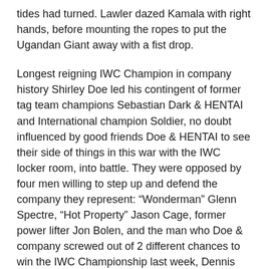tides had turned. Lawler dazed Kamala with right hands, before mounting the ropes to put the Ugandan Giant away with a fist drop.
Longest reigning IWC Champion in company history Shirley Doe led his contingent of former tag team champions Sebastian Dark & HENTAI and International champion Soldier, no doubt influenced by good friends Doe & HENTAI to see their side of things in this war with the IWC locker room, into battle. They were opposed by four men willing to step up and defend the company they represent: “Wonderman” Glenn Spectre, “Hot Property” Jason Cage, former power lifter Jon Bolen, and the man who Doe & company screwed out of 2 different chances to win the IWC Championship last week, Dennis Gregory. The match was a total war before and even after the bell, yet the cohesion and experience together that this